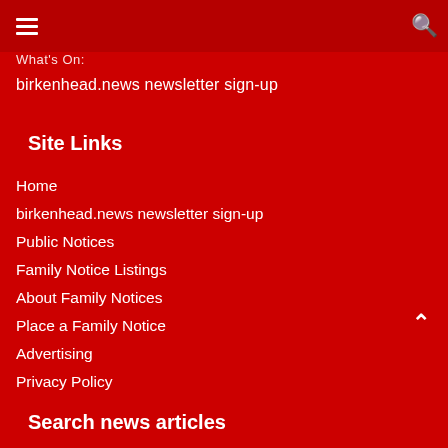What's On: | [search icon]
birkenhead.news newsletter sign-up
Site Links
Home
birkenhead.news newsletter sign-up
Public Notices
Family Notice Listings
About Family Notices
Place a Family Notice
Advertising
Privacy Policy
Search news articles